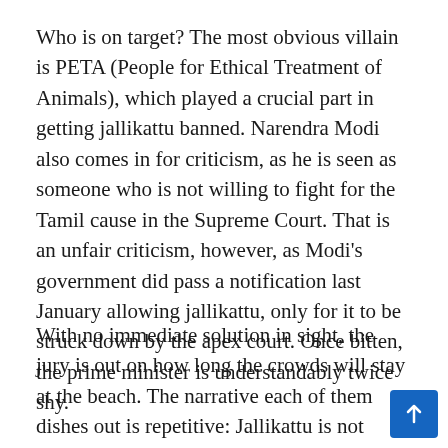Who is on target? The most obvious villain is PETA (People for Ethical Treatment of Animals), which played a crucial part in getting jallikattu banned. Narendra Modi also comes in for criticism, as he is seen as someone who is not willing to fight for the Tamil cause in the Supreme Court. That is an unfair criticism, however, as Modi's government did pass a notification last January allowing jallikattu, only for it to be struck down by the apex court. Once bitten, the prime minister is understandably twice shy.
With no immediate solution in sight, the jury is out on how long the crowds will stay at the beach. The narrative each of them dishes out is repetitive: Jallikattu is not cruel. Period. We need an ordinance. Period. Very few even know that jallikattu was in fact permitted under the Tamil Nadu Regulation of Jallikattu Act, 2009. But activists...